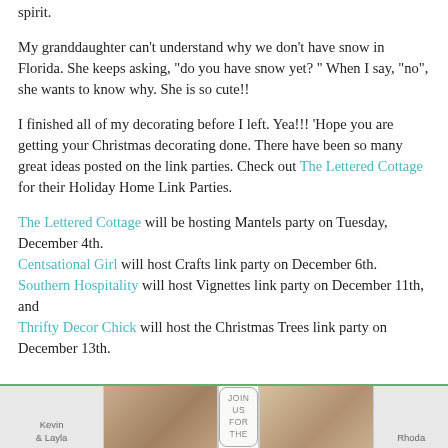spirit.
My granddaughter can't understand why we don't have snow in Florida. She keeps asking, "do you have snow yet? " When I say, "no", she wants to know why. She is so cute!!
I finished all of my decorating before I left. Yea!!! 'Hope you are getting your Christmas decorating done. There have been so many great ideas posted on the link parties. Check out The Lettered Cottage for their Holiday Home Link Parties.
The Lettered Cottage will be hosting Mantels party on Tuesday, December 4th.
Centsational Girl will host Crafts link party on December 6th.
Southern Hospitality will host Vignettes link party on December 11th, and
Thrifty Decor Chick will host the Christmas Trees link party on December 13th.
[Figure (illustration): A banner image strip showing three sections: left cell with 'Kevin & Layla' text label and a photo of two people, center cell with a decorative rounded rectangle containing 'JOIN US FOR THE' text, and right cell with a photo of a woman and 'Rhoda' label.]